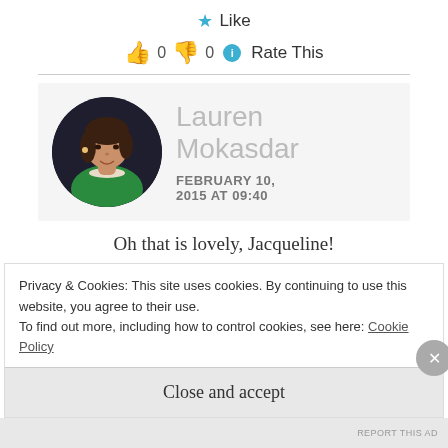★ Like
👍 0 👎 0 ℹ Rate This
[Figure (photo): Circular profile photo of Lauren Mokasdar, a woman wearing a green top with a pearl necklace, dark background]
Lauren Mokasdar
FEBRUARY 10, 2015 AT 09:40
Oh that is lovely, Jacqueline!
Privacy & Cookies: This site uses cookies. By continuing to use this website, you agree to their use.
To find out more, including how to control cookies, see here: Cookie Policy
Close and accept